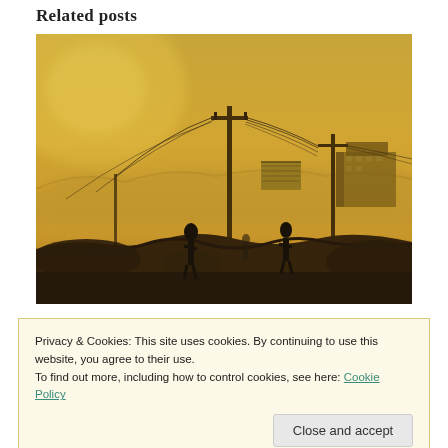Related posts
[Figure (photo): Silhouettes of people walking in a dusty, hazy landscape at sunset with utility poles and power lines in the foreground and buildings and hills in the background. Orange/golden haze fills the entire scene.]
Privacy & Cookies: This site uses cookies. By continuing to use this website, you agree to their use.
To find out more, including how to control cookies, see here: Cookie Policy
Close and accept